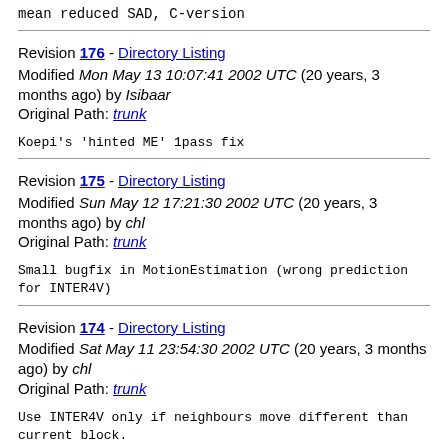mean reduced SAD, C-version
Revision 176 - Directory Listing
Modified Mon May 13 10:07:41 2002 UTC (20 years, 3 months ago) by Isibaar
Original Path: trunk
Koepi's 'hinted ME' 1pass fix
Revision 175 - Directory Listing
Modified Sun May 12 17:21:30 2002 UTC (20 years, 3 months ago) by chl
Original Path: trunk
Small bugfix in MotionEstimation (wrong prediction for INTER4V)
Revision 174 - Directory Listing
Modified Sat May 11 23:54:30 2002 UTC (20 years, 3 months ago) by chl
Original Path: trunk
Use INTER4V only if neighbours move different than current block.
Save quality, some speedup.